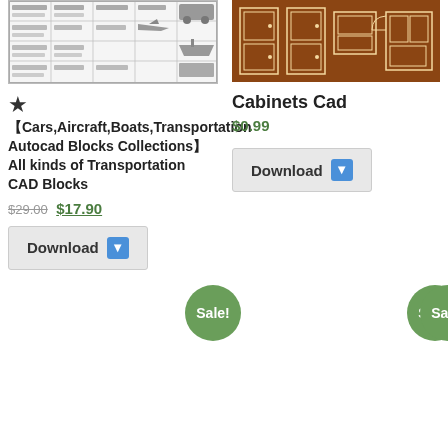[Figure (screenshot): CAD drawing blocks showing cars, aircraft, boats and transportation autocad blocks in a table/grid layout]
[Figure (engineering-diagram): Cabinets CAD drawings on brown background showing cabinet elevations and plans]
★
【Cars,Aircraft,Boats,Transportation Autocad Blocks Collections】All kinds of Transportation CAD Blocks
$29.00 $17.90
Download
Cabinets Cad
$0.99
Download
Sale!
Sale!